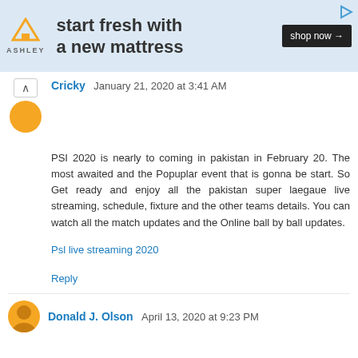[Figure (other): Ashley Furniture advertisement banner: orange house logo, 'ASHLEY' text, 'start fresh with a new mattress', black 'shop now →' button, play icon top right]
Cricky  January 21, 2020 at 3:41 AM
PSI 2020 is nearly to coming in pakistan in February 20. The most awaited and the Popuplar event that is gonna be start. So Get ready and enjoy all the pakistan super laegaue live streaming, schedule, fixture and the other teams details. You can watch all the match updates and the Online ball by ball updates.
Psl live streaming 2020
Reply
Donald J. Olson  April 13, 2020 at 9:23 PM